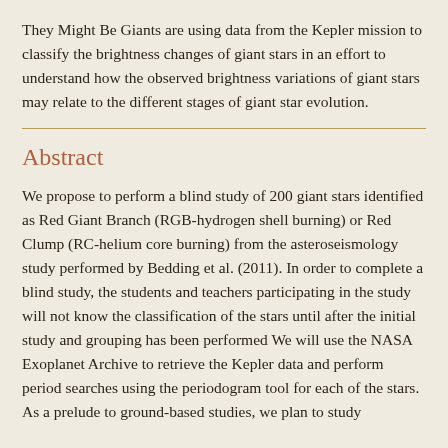They Might Be Giants are using data from the Kepler mission to classify the brightness changes of giant stars in an effort to understand how the observed brightness variations of giant stars may relate to the different stages of giant star evolution.
Abstract
We propose to perform a blind study of 200 giant stars identified as Red Giant Branch (RGB-hydrogen shell burning) or Red Clump (RC-helium core burning) from the asteroseismology study performed by Bedding et al. (2011). In order to complete a blind study, the students and teachers participating in the study will not know the classification of the stars until after the initial study and grouping has been performed We will use the NASA Exoplanet Archive to retrieve the Kepler data and perform period searches using the periodogram tool for each of the stars. As a prelude to ground-based studies, we plan to study